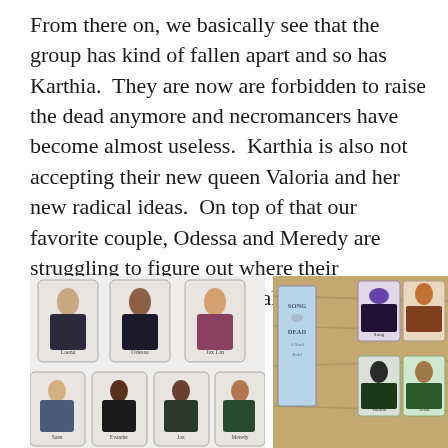From there on, we basically see that the group has kind of fallen apart and so has Karthia.  They are now are forbidden to raise the dead anymore and necromancers have become almost useless.  Karthia is also not accepting their new queen Valoria and her new radical ideas.  On top of that our favorite couple, Odessa and Meredy are struggling to figure out where their relationship stands – basically it's a hot mess back home!
[Figure (photo): Photo of tarot-style character cards laid out on a white surface showing illustrated fantasy characters]
[Figure (photo): Photo of book-related items including a bookmark reading 'Song of the Dead' and illustrated character cards on a wooden surface]